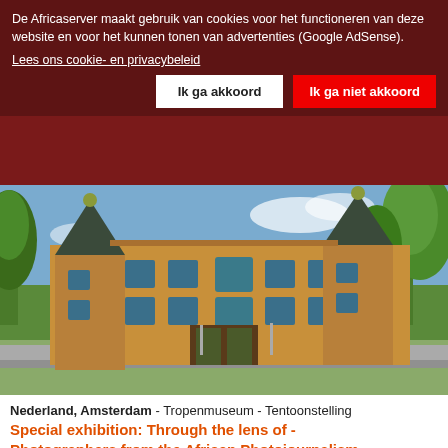De Africaserver maakt gebruik van cookies voor het functioneren van deze website en voor het kunnen tonen van advertenties (Google AdSense).
Lees ons cookie- en privacybeleid
Ik ga akkoord
Ik ga niet akkoord
[Figure (photo): Photograph of the Tropenmuseum building in Amsterdam: a large ornate 19th-century brick building with green-domed towers, surrounded by trees under a blue sky.]
Nederland, Amsterdam - Tropenmuseum - Tentoonstelling
Special exhibition: Through the lens of - Photographers from the African Photojournalism